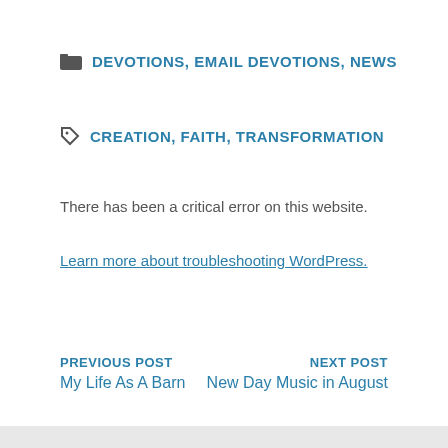DEVOTIONS, EMAIL DEVOTIONS, NEWS
CREATION, FAITH, TRANSFORMATION
There has been a critical error on this website.
Learn more about troubleshooting WordPress.
PREVIOUS POST
My Life As A Barn
NEXT POST
New Day Music in August